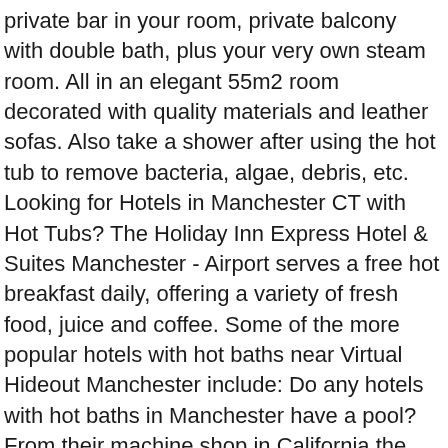private bar in your room, private balcony with double bath, plus your very own steam room. All in an elegant 55m2 room decorated with quality materials and leather sofas. Also take a shower after using the hot tub to remove bacteria, algae, debris, etc. Looking for Hotels in Manchester CT with Hot Tubs? The Holiday Inn Express Hotel & Suites Manchester - Airport serves a free hot breakfast daily, offering a variety of fresh food, juice and coffee. Some of the more popular hotels with hot baths near Virtual Hideout Manchester include: Do any hotels with hot baths in Manchester have a pool? From their machine shop in California the Jacuzzi brothers initially they started making aeroplane propellers and built two prototype aeroplanes which never made it into manufacturing. A sauna is available for guests to use at the following hotels with hot baths in Manchester: Which hotels with hot baths in Manchester have air conditioning? Hotels With Private Jacuzzi in Room Near Me. Search results are sorted by a combination of factors to give you a set of choices in response to your search criteria. Find 301 Hotel Deals in Manchester. The overall look to the room seemed to be